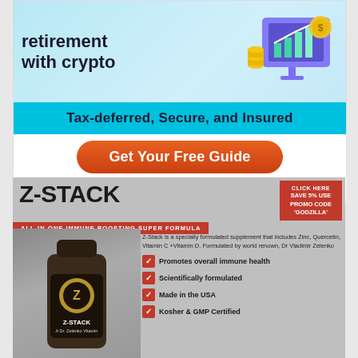[Figure (infographic): BitIRA advertisement banner. Top section shows crypto retirement headline 'retirement with crypto' with decorative chart illustration on light blue background. Below is a cyan bar reading 'Tax-deferred, Secure, and Insured'. Then an orange 'Get Your Free Guide' button and the BitIRA logo.]
[Figure (infographic): Z-Stack supplement advertisement. Shows 'Z-STACK' title in large bold text, 'ALL-IN-ONE IMMUNE BOOSTING SUPER FORMULA' red banner, product bottle illustration, red badge 'CLICK HERE SAVE 5% USE PROMO CODE GODZILLA', description text and four checkmark bullet points: Promotes overall immune health, Scientifically formulated, Made in the USA, Kosher & GMP Certified.]